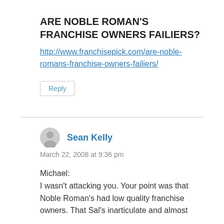ARE NOBLE ROMAN'S FRANCHISE OWNERS FAILIERS?
http://www.franchisepick.com/are-noble-romans-franchise-owners-failiers/
Reply
Sean Kelly
March 22, 2008 at 9:36 pm
Michael:
I wasn't attacking you. Your point was that Noble Roman's had low quality franchise owners. That Sal's inarticulate and almost